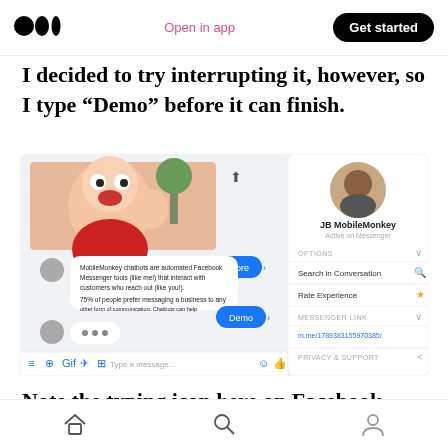Medium logo | Open in app | Get started
I decided to try interrupting it, however, so I type “Demo” before it can finish.
[Figure (screenshot): Screenshot of a Facebook Messenger conversation with JB MobileMonkey chatbot showing an animated character, chat messages about MobileMonkey chatbots, Learn more and Demo buttons, and a side panel with options including Search in Conversation, Rate Experience, Messenger Link, and Privacy & Support.]
Note the typing icon here on Facebook
Home | Search | Profile